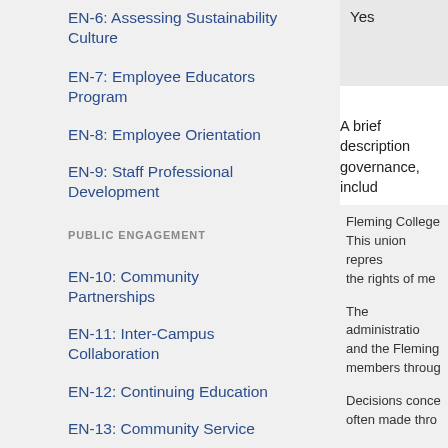EN-6: Assessing Sustainability Culture
EN-7: Employee Educators Program
EN-8: Employee Orientation
EN-9: Staff Professional Development
PUBLIC ENGAGEMENT
EN-10: Community Partnerships
EN-11: Inter-Campus Collaboration
EN-12: Continuing Education
EN-13: Community Service
EN-14: Participation in Public Policy
Yes
A brief description governance, includ
Fleming College This union repres the rights of me The administratio and the Fleming members throug Decisions conce often made thro The elected FAS takes collective The Board of Go There is an Acad Staff Governor. A